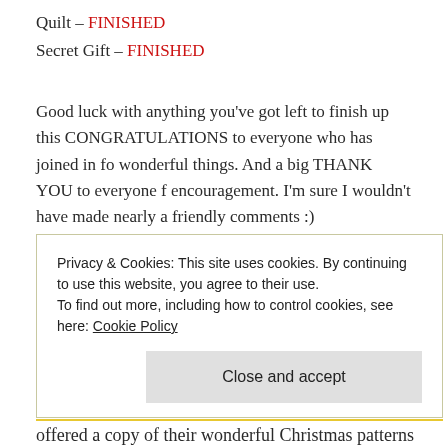Quilt – FINISHED
Secret Gift – FINISHED
Good luck with anything you've got left to finish up this CONGRATULATIONS to everyone who has joined in fo wonderful things. And a big THANK YOU to everyone f encouragement. I'm sure I wouldn't have made nearly a friendly comments :)
Privacy & Cookies: This site uses cookies. By continuing to use this website, you agree to their use.
To find out more, including how to control cookies, see here: Cookie Policy
Close and accept
offered a copy of their wonderful Christmas patterns